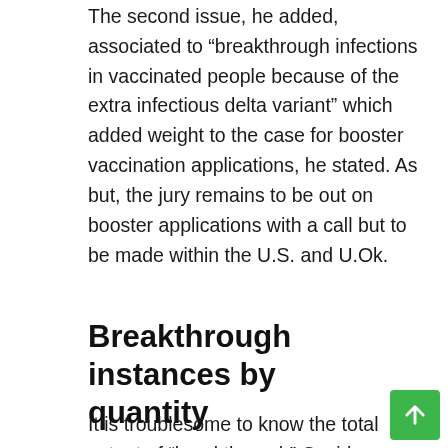The second issue, he added, associated to “breakthrough infections in vaccinated people because of the extra infectious delta variant” which added weight to the case for booster vaccination applications, he stated. As but, the jury remains to be out on booster applications with a call but to be made within the U.S. and U.Ok.
Breakthrough instances by quantity
It is troublesome to know the total extent of “breakthrough” Covid instances as a result of instances in vaccinated folks are